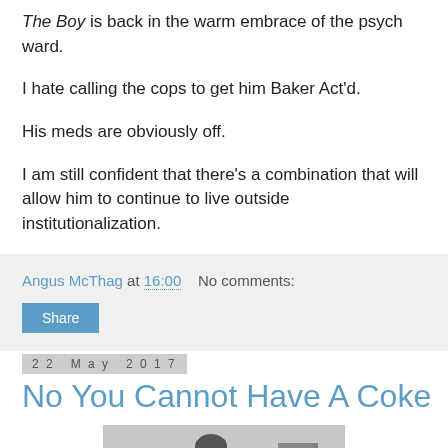The Boy is back in the warm embrace of the psych ward.
I hate calling the cops to get him Baker Act'd.
His meds are obviously off.
I am still confident that there's a combination that will allow him to continue to live outside institutionalization.
Angus McThag at 16:00   No comments:
Share
22 May 2017
No You Cannot Have A Coke
[Figure (photo): Black and white photo of a young man sitting outdoors near what appears to be a military or farm vehicle/equipment, trees in background.]